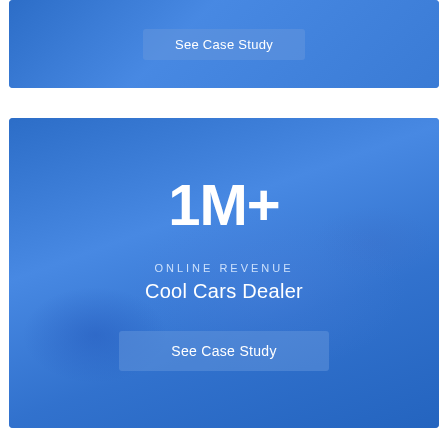[Figure (illustration): Top blue card (partially visible) with a 'See Case Study' button overlay on a blue background]
See Case Study
[Figure (illustration): Blue card with car image overlay showing '1M+' statistic, 'ONLINE REVENUE' label, 'Cool Cars Dealer' company name, and 'See Case Study' button]
1M+
ONLINE REVENUE
Cool Cars Dealer
See Case Study